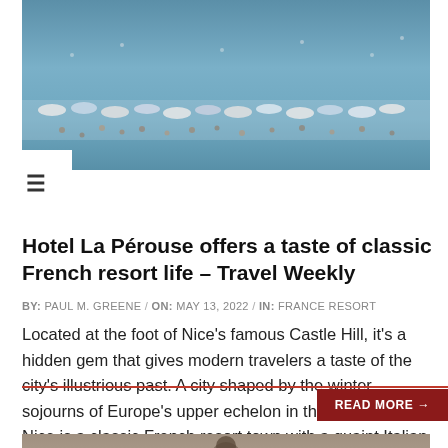[Figure (photo): Aerial view of a busy beach resort with umbrellas, crowds of people, and blue sea water]
Hotel La Pérouse offers a taste of classic French resort life – Travel Weekly
BY:  PAUL M. GREENE  /  ON:  MAY 13, 2022  /  IN:  FRANCE RESORT
Located at the foot of Nice's famous Castle Hill, it's a hidden gem that gives modern travelers a taste of the city's illustrious past. A city shaped by the winter sojourns of Europe's upper echelon in the 19th century, Nice is a classic French resort town with a quaint Italian
READ MORE →
[Figure (photo): People at an outdoor venue, partially visible at the bottom of the page]